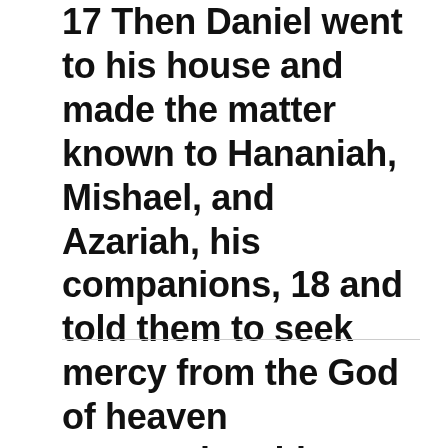17 Then Daniel went to his house and made the matter known to Hananiah, Mishael, and Azariah, his companions, 18 and told them to seek mercy from the God of heaven concerning this mystery, so that Daniel and his companions might not be destroyed with the rest of the wise men of Babylon.